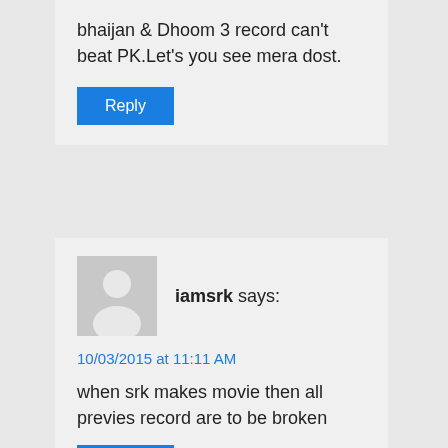bhaijan & Dhoom 3 record can't beat PK.Let's you see mera dost.
Reply
iamsrk says:
10/03/2015 at 11:11 AM
when srk makes movie then all previes record are to be broken
Reply